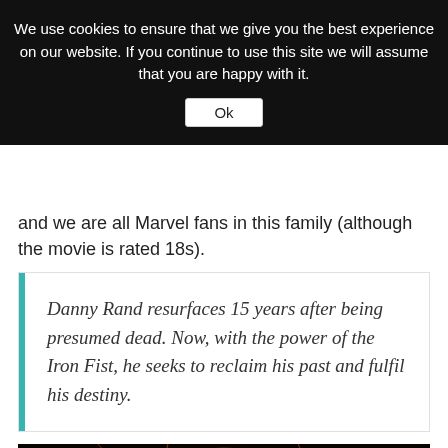We use cookies to ensure that we give you the best experience on our website. If you continue to use this site we will assume that you are happy with it.
Ok
and we are all Marvel fans in this family (although the movie is rated 18s).
Danny Rand resurfaces 15 years after being presumed dead. Now, with the power of the Iron Fist, he seeks to reclaim his past and fulfil his destiny.
[Figure (photo): Iron Fist Netflix Original Series promotional image showing a shirtless man with glowing golden fists crossed in front of him, with the Iron Fist logo text visible at the bottom]